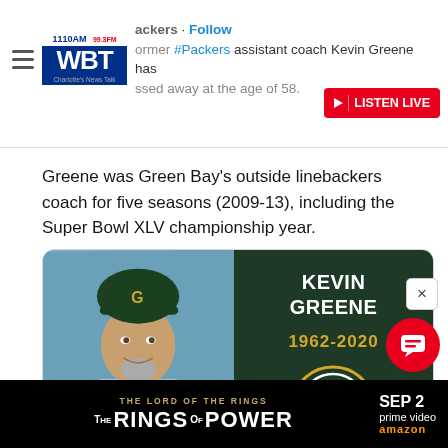1110AM WBT Charlotte's News Talk | Packers · Follow — Former #Packers assistant coach Kevin Greene has passed away at the age of 58. | LISTEN LIVE
Greene was Green Bay's outside linebackers coach for five seasons (2009-13), including the Super Bowl XLV championship year.
[Figure (photo): Kevin Greene memorial card showing a photo of Kevin Greene in Green Bay Packers gear on the left, and dark green background with text 'KEVIN GREENE 1962-2020' and the Packers G logo on the right. Below: packers.com — Former Packers assistant coach Kevin Greene dies at 58]
packers.com
Former Packers assistant coach Kevin Greene dies at 58
THE LORD OF THE RINGS — THE RINGS OF POWER — SEP 2 — prime video — amazon